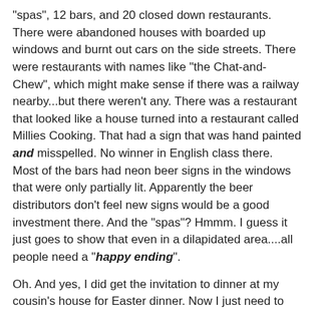"spas", 12 bars, and 20 closed down restaurants. There were abandoned houses with boarded up windows and burnt out cars on the side streets. There were restaurants with names like "the Chat-and-Chew", which might make sense if there was a railway nearby...but there weren't any. There was a restaurant that looked like a house turned into a restaurant called Millies Cooking. That had a sign that was hand painted and misspelled. No winner in English class there. Most of the bars had neon beer signs in the windows that were only partially lit. Apparently the beer distributors don't feel new signs would be a good investment there. And the "spas"? Hmmm. I guess it just goes to show that even in a dilapidated area....all people need a "happy ending".
Oh. And yes, I did get the invitation to dinner at my cousin's house for Easter dinner. Now I just need to find those stretch pants....
:-)
Footnote: If you look closely to the photograph, the sign in front of the boarded up building says', "Facing Foreclosure?" How ironic.